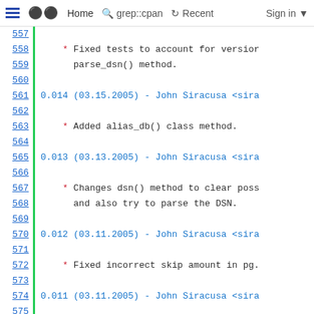≡  ⠿ Home  🔍 grep::cpan  ↺ Recent  Sign in ▼
557
558  * Fixed tests to account for version
559      parse_dsn() method.
560
561  0.014 (03.15.2005) - John Siracusa <sira
562
563      * Added alias_db() class method.
564
565  0.013 (03.13.2005) - John Siracusa <sira
566
567      * Changes dsn() method to clear poss
568        and also try to parse the DSN.
569
570  0.012 (03.11.2005) - John Siracusa <sira
571
572      * Fixed incorrect skip amount in pg.
573
574  0.011 (03.11.2005) - John Siracusa <sira
575
576      * Correct misplaced _ in number.
577      * Fixed bad return value from empty
578        treats it as I expect, but perl 5.
579
580  0.01 (03.09.2005) - John Siracusa <sirac
581
582      * Initial release.